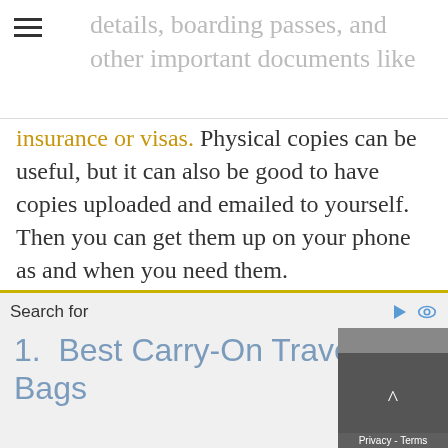details, boarding passes, and other important documents like
insurance or visas. Physical copies can be useful, but it can also be good to have copies uploaded and emailed to yourself. Then you can get them up on your phone as and when you need them.
DON'T CARRY EVERYTHING TOGETHER
When you are out and about on your trip, it doesn't make sense
Search for
1.  Best Carry-On Travel Bags